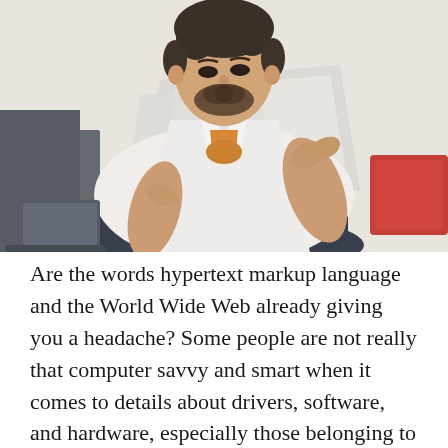[Figure (photo): A young man with a beard wearing a white shirt over an orange t-shirt, sitting on a couch and looking at papers he is holding up, with a laptop nearby and a red pillow visible in the background.]
Are the words hypertext markup language and the World Wide Web already giving you a headache? Some people are not really that computer savvy and smart when it comes to details about drivers, software, and hardware, especially those belonging to older generations. But being a non-computer science graduate...